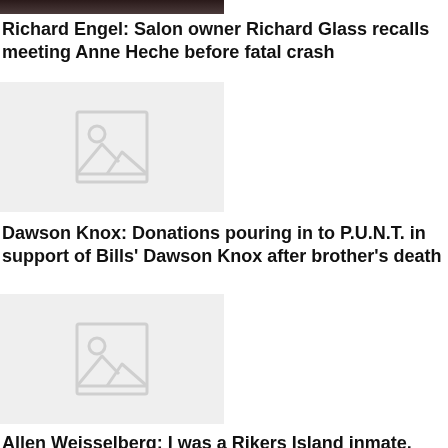[Figure (photo): Partial photo visible at top of page, cropped]
Richard Engel: Salon owner Richard Glass recalls meeting Anne Heche before fatal crash
[Figure (photo): Image placeholder with mountain/landscape icon]
Dawson Knox: Donations pouring in to P.U.N.T. in support of Bills' Dawson Knox after brother's death
[Figure (photo): Image placeholder with mountain/landscape icon]
Allen Weisselberg: I was a Rikers Island inmate. Here's